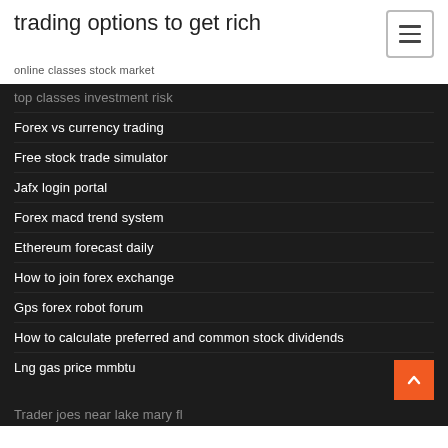trading options to get rich
online classes stock market
top classes investment risk
Forex vs currency trading
Free stock trade simulator
Jafx login portal
Forex macd trend system
Ethereum forecast daily
How to join forex exchange
Gps forex robot forum
How to calculate preferred and common stock dividends
Lng gas price mmbtu
Trader joes near lake mary fl